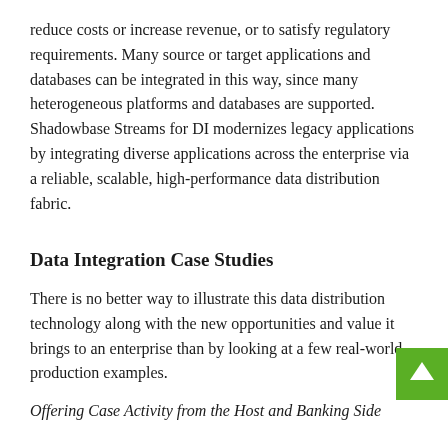reduce costs or increase revenue, or to satisfy regulatory requirements. Many source or target applications and databases can be integrated in this way, since many heterogeneous platforms and databases are supported. Shadowbase Streams for DI modernizes legacy applications by integrating diverse applications across the enterprise via a reliable, scalable, high-performance data distribution fabric.
Data Integration Case Studies
There is no better way to illustrate this data distribution technology along with the new opportunities and value it brings to an enterprise than by looking at a few real-world production examples.
Offering Case Activity from the Host and Banking Side